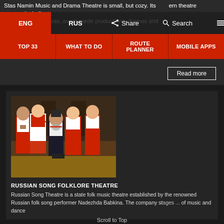Stas Namin Music and Drama Theatre is small, but cozy. Its ... modern theatre genres, including musicals, rock operas, avant-garde productions, dramas and
[Figure (screenshot): Navigation bar with ENG, RUS, Share, Search buttons and hamburger menu on dark background overlay of theatre image]
[Figure (screenshot): Second navigation bar with TOP 33, WHAT TO DO, ROUTE PLANNER, MOBILE APPS red buttons]
[Figure (photo): Group of performers in traditional Russian folk costumes (red and white embroidered shirts, sarafans) on a stage]
RUSSIAN SONG FOLKLORE THEATRE
Russian Song Theatre is a state folk music theatre established by the renowned Russian folk song performer Nadezhda Babkina. The company stages ... of music and dance
Scroll to Top